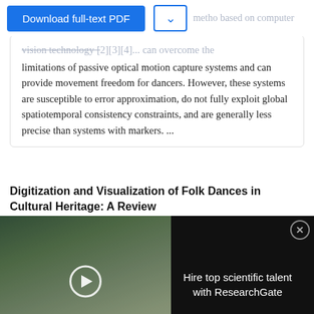[Figure (screenshot): Download full-text PDF button (blue) with dropdown arrow box, followed by partially visible faded text about methods based on computer vision technology]
limitations of passive optical motion capture systems and can provide movement freedom for dancers. However, these systems are susceptible to error approximation, do not fully exploit global spatiotemporal consistency constraints, and are generally less precise than systems with markers. ...
Digitization and Visualization of Folk Dances in Cultural Heritage: A Review
[Figure (screenshot): Video advertisement overlay: left side shows scientists in lab with play button and text 'HIRE TOP SCIENTIFIC TALENT WITH RESEARCHGATE'; right side black background with text 'Hire top scientific talent with ResearchGate' and close button]
[Figure (screenshot): Bottom advertisement: left side ThermoFisher Scientific 'Named Reactions in Organic Synthesis' banner; right side shows 'Electrophilic Addition Reactions: Simmons-Smith Cyclopropanation Reaction' with Learn more button]